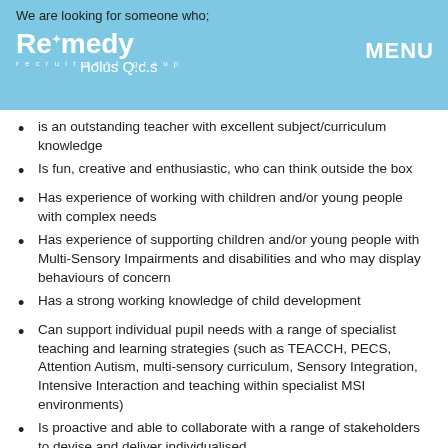We are looking for someone who;
[Figure (logo): Remedy recruitment group logo and Holus Q.c.s text in header bar]
is an outstanding teacher with excellent subject/curriculum knowledge
Is fun, creative and enthusiastic, who can think outside the box
Has experience of working with children and/or young people with complex needs
Has experience of supporting children and/or young people with Multi-Sensory Impairments and disabilities and who may display behaviours of concern
Has a strong working knowledge of child development
Can support individual pupil needs with a range of specialist teaching and learning strategies (such as TEACCH, PECS, Attention Autism, multi-sensory curriculum, Sensory Integration, Intensive Interaction and teaching within specialist MSI environments)
Is proactive and able to collaborate with a range of stakeholders to devise and deliver individualised